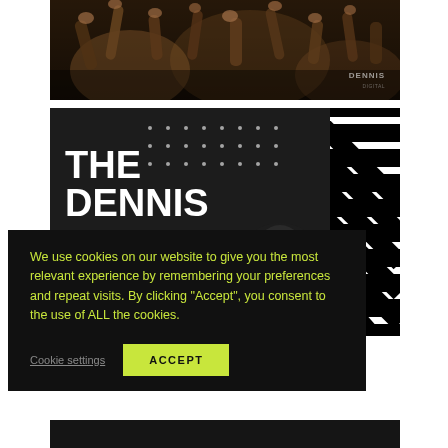[Figure (photo): Dark concert/crowd photo with raised hands, Dennis watermark in bottom right corner]
[Figure (photo): Dark promotional image with large white bold text reading 'THE DENNIS' with dot pattern decorations, diagonal black and white stripes on right side, and a person in the lower right]
We use cookies on our website to give you the most relevant experience by remembering your preferences and repeat visits. By clicking "Accept", you consent to the use of ALL the cookies.
Cookie settings
ACCEPT